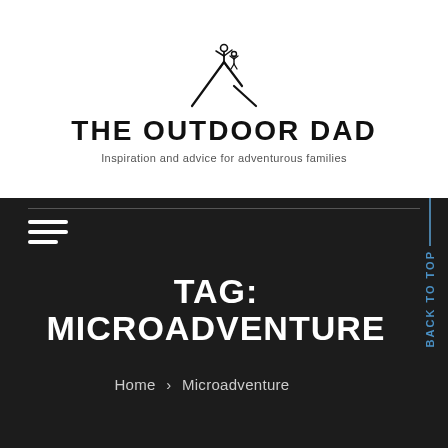[Figure (logo): The Outdoor Dad logo: stick figure of adult and child on a mountain peak, hand-drawn style]
THE OUTDOOR DAD
Inspiration and advice for adventurous families
≡ (hamburger menu)
TAG: MICROADVENTURE
Home > Microadventure